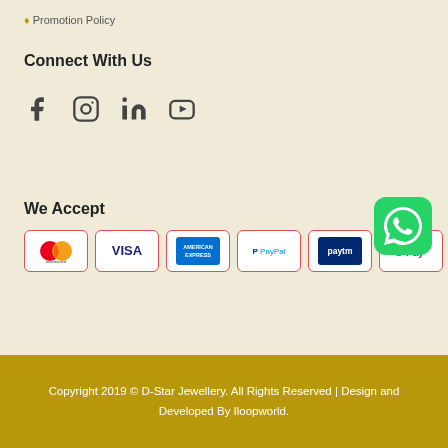♦ Promotion Policy
Connect With Us
[Figure (other): Social media icons: Facebook, Instagram, LinkedIn, YouTube]
We Accept
[Figure (other): Payment method logos: Mastercard, Visa, American Express, PayPal, Paytm, G Pay]
[Figure (other): WhatsApp button icon (green rounded square)]
Copyright 2019 © D-Star Jewellery. All Rights Reserved | Design and Developed By Iloopworld.